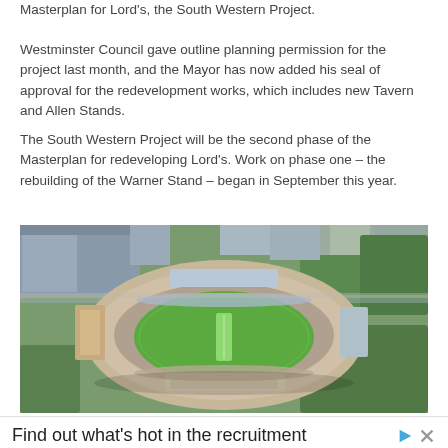Masterplan for Lord's, the South Western Project.
Westminster Council gave outline planning permission for the project last month, and the Mayor has now added his seal of approval for the redevelopment works, which includes new Tavern and Allen Stands.
The South Western Project will be the second phase of the Masterplan for redeveloping Lord's. Work on phase one – the rebuilding of the Warner Stand – began in September this year.
[Figure (photo): Aerial view of Lord's Cricket Ground surrounded by London buildings and trees, showing the oval green pitch and stands from above.]
Find out what's hot in the recruitment market. Download RChilli Global Recruitment Report.
Open
Ad